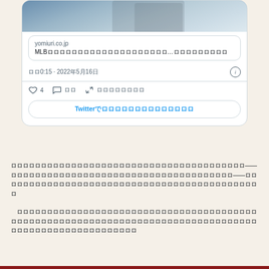[Figure (screenshot): Twitter/X tweet card showing a yomiuri.co.jp link preview with a sports image, timestamp 0:15 · 2022年5月16日, 4 likes, reply, share options, and a Twitter login button]
ロロロロロロロロロロロロロロロロロロロロロロロロロロロロロロロロロロロロロロロろ——ロロロロロロロロロロロロロロロロロロロロロロロロロロロロロロロロロロロロロロロロロロロロロロロロろロロロロロロロロロロロロロロロロロろロロロロロロロロロろロ
ロロロロロロロロロろロロロロロロロロロロロロロロロロロロロロロロロロロロろロロロロロロロロロロロロロロロロロロロロロロロロROROROロロロロロロロロロロろロロろロロロロろ